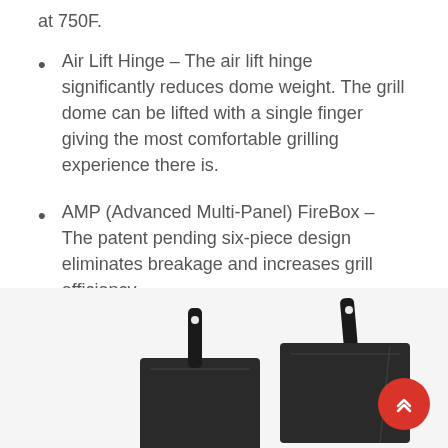at 750F.
Air Lift Hinge – The air lift hinge significantly reduces dome weight. The grill dome can be lifted with a single finger giving the most comfortable grilling experience there is.
AMP (Advanced Multi-Panel) FireBox – The patent pending six-piece design eliminates breakage and increases grill efficiency.
[Figure (photo): Cookware items including pans and skillets displayed at the bottom of the page, partially visible.]